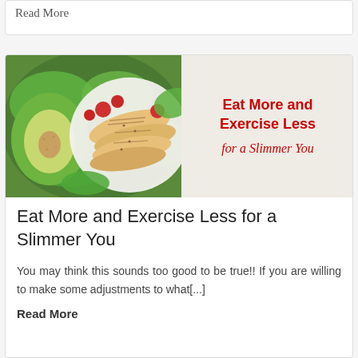Read More
[Figure (photo): Hero image showing a salad bowl with avocado, sliced grilled chicken, tomatoes, and greens on the left half, and a light textured background on the right half with bold red text reading 'Eat More and Exercise Less for a Slimmer You']
Eat More and Exercise Less for a Slimmer You
You may think this sounds too good to be true!!  If you are willing to make some adjustments to what[...]
Read More